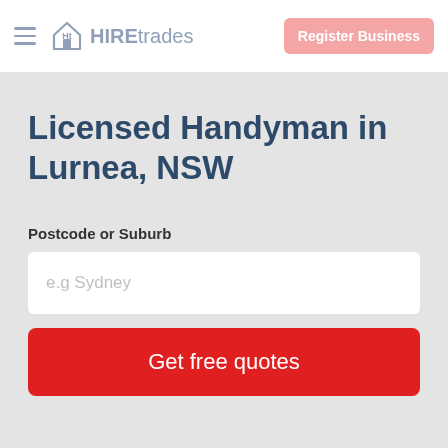HIREtrades | Register Business
Licensed Handyman in Lurnea, NSW
Postcode or Suburb
e.g Sydney
Get free quotes